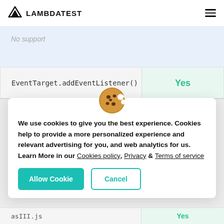LAMBDATEST
No support
| EventTarget.addEventListener() | Yes |
| --- | --- |
[Figure (illustration): Cookie emoji icon]
We use cookies to give you the best experience. Cookies help to provide a more personalized experience and relevant advertising for you, and web analytics for us. Learn More in our Cookies policy, Privacy & Terms of service
Allow Cookie | Cancel
| asIII.js | Yes |
| --- | --- |